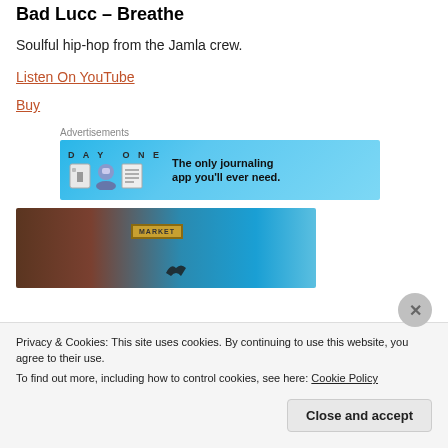Bad Lucc – Breathe
Soulful hip-hop from the Jamla crew.
Listen On YouTube
Buy
Advertisements
[Figure (screenshot): Day One app advertisement banner: blue background with Day One logo, three cartoon icons (door, character, notebook), and text 'The only journaling app you'll ever need.']
[Figure (photo): Album or article image showing a dark brown/gradient background with a sign reading 'MARKET' and a bird shape, transitioning to blue sky.]
Privacy & Cookies: This site uses cookies. By continuing to use this website, you agree to their use.
To find out more, including how to control cookies, see here: Cookie Policy
Close and accept